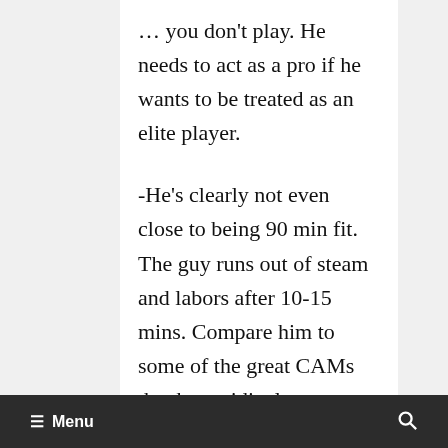… you don't play. He needs to act as a pro if he wants to be treated as an elite player.
-He's clearly not even close to being 90 min fit. The guy runs out of steam and labors after 10-15 mins. Compare him to some of the great CAMs that have ridiculous engines. I'm not sure Adu has ever properly pushed himself in terms of truly becoming fit.
When you put the above 2 comments together, it comes down to trust. I don't
≡ Menu  🔍